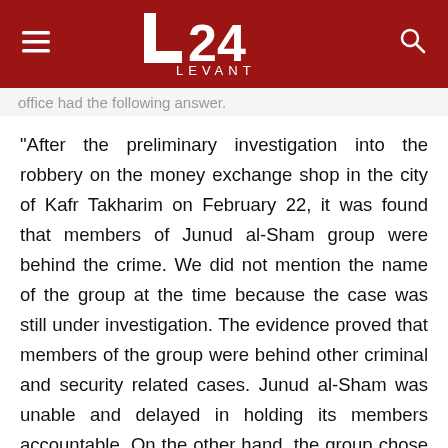L24 LEVANT
office had the following answer.
"After the preliminary investigation into the robbery on the money exchange shop in the city of Kafr Takharim on February 22, it was found that members of Junud al-Sham group were behind the crime. We did not mention the name of the group at the time because the case was still under investigation. The evidence proved that members of the group were behind other criminal and security related cases. Junud al-Sham was unable and delayed in holding its members accountable. On the other hand, the group chose to work alone militarily outside the military operations room which was accepted by the major factions of the Syrian revolution. It makes no sense for one or two military groups to remain outside this operations room, especially with the challenges surrounding the region. Junud al-Sham, like other